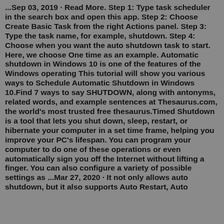...Sep 03, 2019 · Read More. Step 1: Type task scheduler in the search box and open this app. Step 2: Choose Create Basic Task from the right Actions panel. Step 3: Type the task name, for example, shutdown. Step 4: Choose when you want the auto shutdown task to start. Here, we choose One time as an example. Automatic shutdown in Windows 10 is one of the features of the Windows operating This tutorial will show you various ways to Schedule Automatic Shutdown in Windows 10.Find 7 ways to say SHUTDOWN, along with antonyms, related words, and example sentences at Thesaurus.com, the world's most trusted free thesaurus.Timed Shutdown is a tool that lets you shut down, sleep, restart, or hibernate your computer in a set time frame, helping you improve your PC's lifespan. You can program your computer to do one of these operations or even automatically sign you off the Internet without lifting a finger. You can also configure a variety of possible settings as ...Mar 27, 2020 · It not only allows auto shutdown, but it also supports Auto Restart, Auto